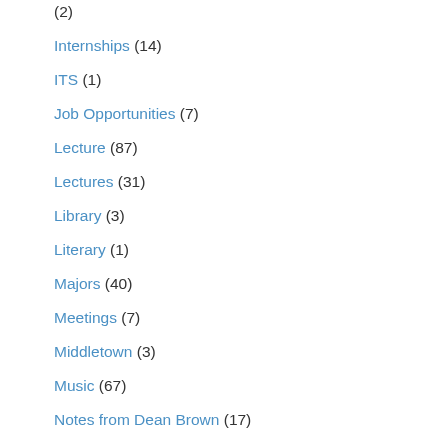(2)
Internships (14)
ITS (1)
Job Opportunities (7)
Lecture (87)
Lectures (31)
Library (3)
Literary (1)
Majors (40)
Meetings (7)
Middletown (3)
Music (67)
Notes from Dean Brown (17)
Office of Diversity and Strategic Partnerships (3)
Office of International Student Affi...